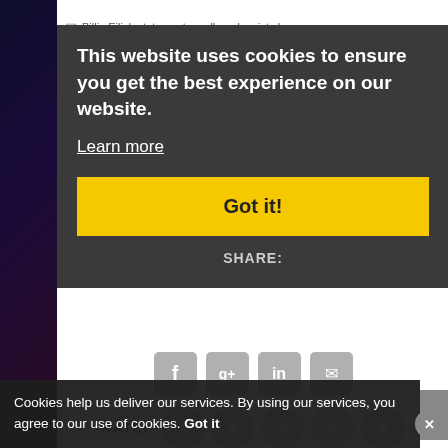[Figure (screenshot): Website screenshot showing a cookie consent overlay on top of a page with a Billie Eilish article image placeholder. The cookie overlay has dark background with text 'This website uses cookies to ensure you get the best experience on our website.', a 'Learn more' link, and a yellow 'Got it!' button. Below shows SHARE: with social icons (Facebook, Google+, LinkedIn, Email), RATE: with 5 gray star circles, PREVIOUS and NEXT navigation buttons, and a bottom cookie bar.]
Billie Eilish statement on alleged racist slur
Read more: justjared.com
This website uses cookies to ensure you get the best experience on our website.
Learn more
Got it!
SHARE:
RATE:
< PREVIOUS
NEXT >
Cookies help us deliver our services. By using our services, you agree to our use of cookies.
Got it